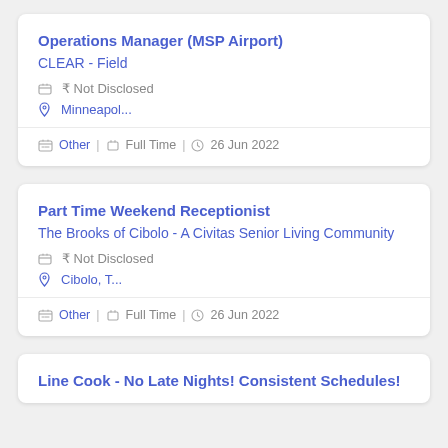Operations Manager (MSP Airport)
CLEAR - Field
₹ Not Disclosed
Minneapol...
Other  Full Time  26 Jun 2022
Part Time Weekend Receptionist
The Brooks of Cibolo - A Civitas Senior Living Community
₹ Not Disclosed
Cibolo, T...
Other  Full Time  26 Jun 2022
Line Cook - No Late Nights! Consistent Schedules!